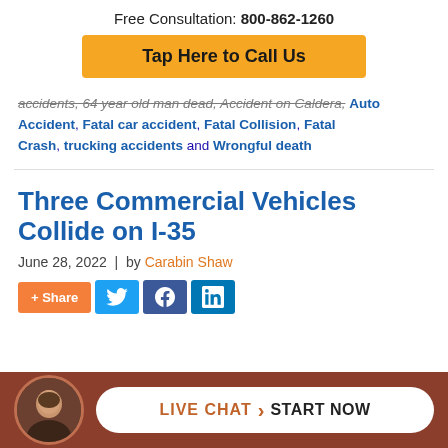Free Consultation: 800-862-1260
Tap Here to Call Us
accidents, 64 year old man dead, Accident on Caldera, Auto Accident, Fatal car accident, Fatal Collision, Fatal Crash, trucking accidents and Wrongful death
Three Commercial Vehicles Collide on I-35
June 28, 2022  |  by Carabin Shaw
[Figure (infographic): Social share buttons: + Share (orange), Twitter (blue bird), Facebook (blue f), LinkedIn (blue in)]
[Figure (photo): Circular avatar photo of a man in a suit, displayed in the bottom bar]
LIVE CHAT › START NOW